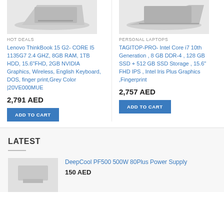[Figure (photo): Laptop image top-left, silver laptop partially visible]
HOT DEALS
Lenovo ThinkBook 15 G2- CORE I5 1135G7 2.4 GHZ, 8GB RAM, 1TB HDD, 15.6"FHD, 2GB NVIDIA Graphics, Wireless, English Keyboard, DOS, finger print,Grey Color |20VE000MUE
2,791 AED
ADD TO CART
[Figure (photo): Laptop image top-right, grey laptop partially visible]
PERSONAL LAPTOPS
TAGITOP-PRO- Intel Core i7 10th Generation , 8 GB DDR-4 , 128 GB SSD + 512 GB SSD Storage , 15.6" FHD IPS , Intel Iris Plus Graphics ,Fingerprint
2,757 AED
ADD TO CART
LATEST
DeepCool PF500 500W 80Plus Power Supply
150 AED